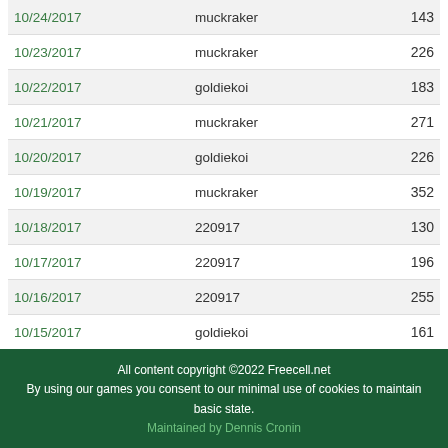| 10/24/2017 | muckraker | 143 |
| 10/23/2017 | muckraker | 226 |
| 10/22/2017 | goldiekoi | 183 |
| 10/21/2017 | muckraker | 271 |
| 10/20/2017 | goldiekoi | 226 |
| 10/19/2017 | muckraker | 352 |
| 10/18/2017 | 220917 | 130 |
| 10/17/2017 | 220917 | 196 |
| 10/16/2017 | 220917 | 255 |
| 10/15/2017 | goldiekoi | 161 |
All content copyright ©2022 Freecell.net
By using our games you consent to our minimal use of cookies to maintain basic state.
Maintained by Dennis Cronin